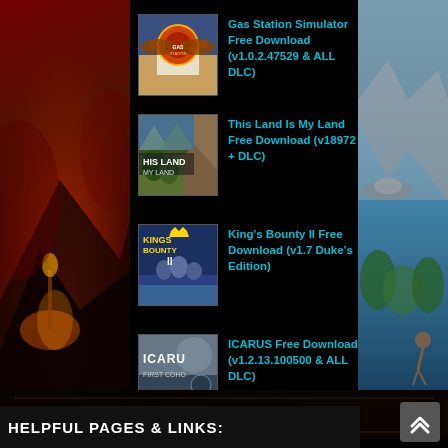Gas Station Simulator Free Download (v1.0.2.47529 & ALL DLC)
This Land Is My Land Free Download (v18972 + DLC)
King's Bounty II Free Download (v1.7 Duke's Edition)
ICARUS Free Download (v1.2.13.100500 & ALL DLC)
[Figure (logo): NEW WORLD game logo in gold/amber serif font on dark background]
HELPFUL PAGES & LINKS: